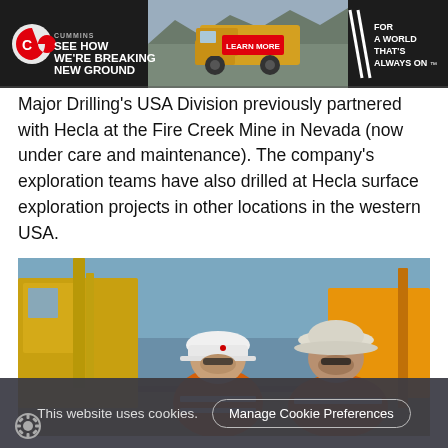[Figure (screenshot): Cummins advertisement banner: dark background with Cummins logo (C), headline SEE HOW WE'RE BREAKING NEW GROUND, image of yellow mining dump truck, red LEARN MORE button, and tagline FOR A WORLD THAT'S ALWAYS ON]
Major Drilling's USA Division previously partnered with Hecla at the Fire Creek Mine in Nevada (now under care and maintenance). The company's exploration teams have also drilled at Hecla surface exploration projects in other locations in the western USA.
[Figure (photo): Two miners in orange high-visibility clothing and white hard hats sitting in a field, with yellow drilling equipment visible in the background against a blue sky.]
This website uses cookies.
Manage Cookie Preferences